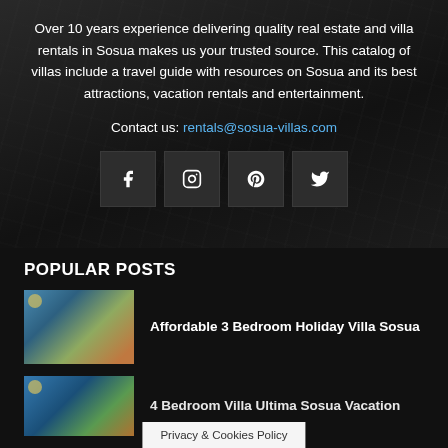Over 10 years experience delivering quality real estate and villa rentals in Sosua makes us your trusted source. This catalog of villas include a travel guide with resources on Sosua and its best attractions, vacation rentals and entertainment.
Contact us: rentals@sosua-villas.com
[Figure (other): Social media icons: Facebook, Instagram, Pinterest, Twitter]
POPULAR POSTS
[Figure (photo): Thumbnail of Affordable 3 Bedroom Holiday Villa Sosua showing a pool and orange building]
Affordable 3 Bedroom Holiday Villa Sosua
[Figure (photo): Thumbnail of 4 Bedroom Villa Ultima Sosua Vacation showing a house with blue sky]
4 Bedroom Villa Ultima Sosua Vacation
Privacy & Cookies Policy